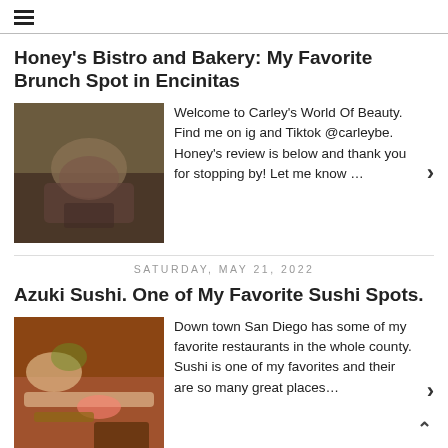☰ (hamburger menu icon)
Honey's Bistro and Bakery: My Favorite Brunch Spot in Encinitas
Welcome to Carley's World Of Beauty. Find me on ig and Tiktok @carleybe. Honey's review is below and thank you for stopping by! Let me know ...
SATURDAY, MAY 21, 2022
Azuki Sushi. One of My Favorite Sushi Spots.
Down town San Diego has some of my favorite restaurants in the whole county. Sushi is one of my favorites and their are so many great places...